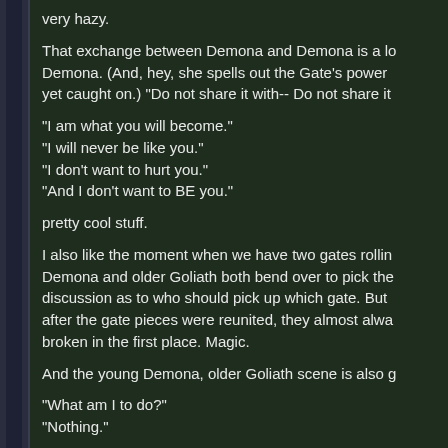very hazy.
That exchange between Demona and Demona is a lo Demona. (And, hey, she spells out the Gate's power yet caught on.) "Do not share it with-- Do not share it
"I am what you will become."
"I will never be like you."
"I don't want to hurt you."
"And I don't want to BE you."
pretty cool stuff.
I also like the moment when we have two gates rollin Demona and older Goliath both bend over to pick the discussion as to who should pick up which gate. But after the gate pieces were reunited, they almost alwa broken in the first place. Magic.
And the young Demona, older Goliath scene is also g
"What am I to do?"
"Nothing."
Love that. Love his whole "Do nothing/attend the o